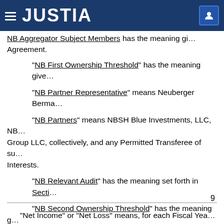JUSTIA
"NB Aggregator Subject Members" has the meaning gi... Agreement.
"NB First Ownership Threshold" has the meaning give...
"NB Partner Representative" means Neuberger Berma...
"NB Partners" means NBSH Blue Investments, LLC, NB... Group LLC, collectively, and any Permitted Transferee of su... Interests.
"NB Relevant Audit" has the meaning set forth in Secti...
"NB Second Ownership Threshold" has the meaning g... Agreement.
9
"Net Income" or "Net Loss" means, for each Fiscal Yea...